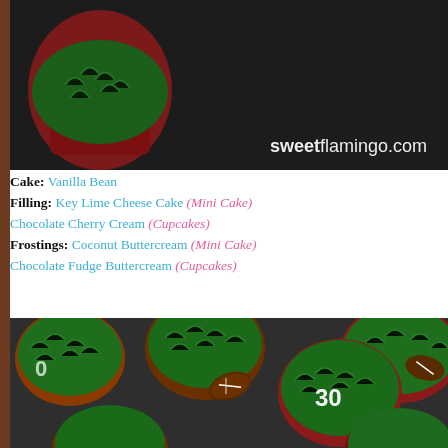[Figure (photo): Close-up photo of football-themed cupcakes with green grass frosting on dark background. Watermark text 'sweetflamingo.com' visible in bottom right.]
Cake: Vanilla Bean
Filling: Key Lime Cheese Cake (Mini Cake)
Chocolate Cherry Cream (Cupcakes)
Frostings: Coconut Buttercream (Mini Cake)
Chocolate Fudge Buttercream (Cupcakes)
[Figure (photo): Aerial view of multiple football-themed cupcakes with green grass frosting, some decorated with football candy pieces and jersey numbers (e.g. 30) in white frosting, on dark background.]